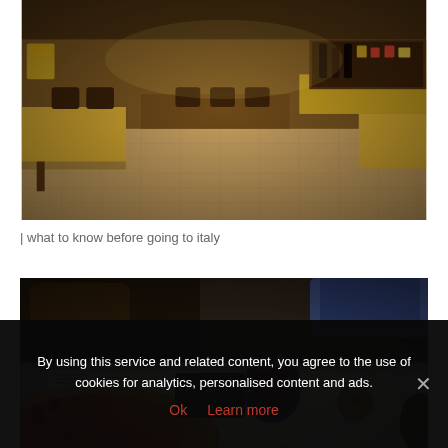[Figure (photo): Interior of an Italian restaurant with yellow tablecloths on dark wooden tables, chairs, tiled floor, and shelves with wine bottles and food products in the background. Warm ambient lighting.]
| what to know before going to italy
[Figure (photo): Close-up of a pizza with tomato topping on a white paper-covered restaurant table, alongside a plastic cup of red wine, a black leather wallet, and sugar packets. Blurred chairs and people in background.]
By using this service and related content, you agree to the use of cookies for analytics, personalised content and ads.
Ok  Learn more